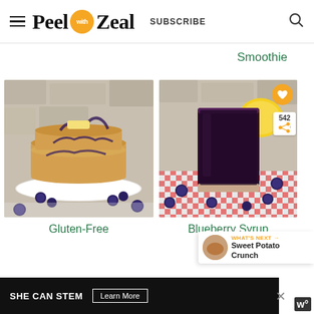Peel with Zeal — SUBSCRIBE
Smoothie
[Figure (photo): Stack of blueberry pancakes with syrup and fresh blueberries on a white plate]
Gluten-Free
[Figure (photo): A glass of blueberry syrup with lemon and fresh blueberries on a red checkered cloth]
Blueberry Syrup
WHAT'S NEXT → Sweet Potato Crunch
SHE CAN STEM  Learn More